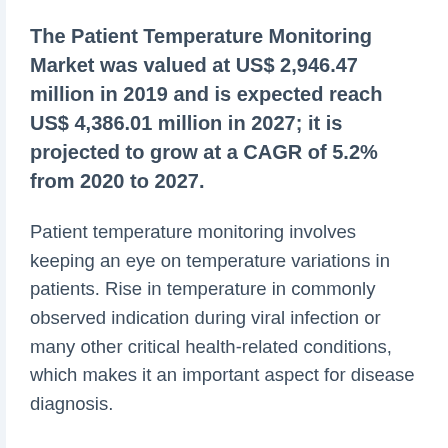The Patient Temperature Monitoring Market was valued at US$ 2,946.47 million in 2019 and is expected reach US$ 4,386.01 million in 2027; it is projected to grow at a CAGR of 5.2% from 2020 to 2027.
Patient temperature monitoring involves keeping an eye on temperature variations in patients. Rise in temperature in commonly observed indication during viral infection or many other critical health-related conditions, which makes it an important aspect for disease diagnosis.
The Insight Partners is one of the leading